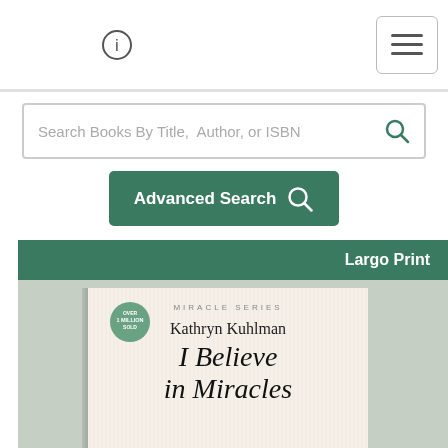Search Books By Title, Author, or ISBN
Advanced Search
Largo Print
[Figure (photo): Book cover of 'I Believe in Miracles' by Kathryn Kuhlman, Miracle Series. Features black and white portrait photo of Kathryn Kuhlman smiling. Badge reads 'Over 1 Million Sold'.]